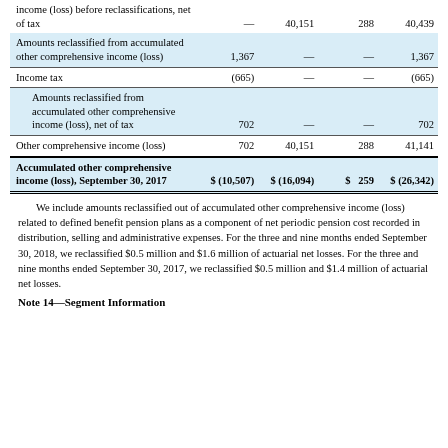|  | Col1 | Col2 | Col3 | Total |
| --- | --- | --- | --- | --- |
| income (loss) before reclassifications, net of tax | — | 40,151 | 288 | 40,439 |
| Amounts reclassified from accumulated other comprehensive income (loss) | 1,367 | — | — | 1,367 |
| Income tax | (665) | — | — | (665) |
| Amounts reclassified from accumulated other comprehensive income (loss), net of tax | 702 | — | — | 702 |
| Other comprehensive income (loss) | 702 | 40,151 | 288 | 41,141 |
| Accumulated other comprehensive income (loss), September 30, 2017 | $ (10,507) | $ (16,094) | $ 259 | $ (26,342) |
We include amounts reclassified out of accumulated other comprehensive income (loss) related to defined benefit pension plans as a component of net periodic pension cost recorded in distribution, selling and administrative expenses. For the three and nine months ended September 30, 2018, we reclassified $0.5 million and $1.6 million of actuarial net losses. For the three and nine months ended September 30, 2017, we reclassified $0.5 million and $1.4 million of actuarial net losses.
Note 14—Segment Information